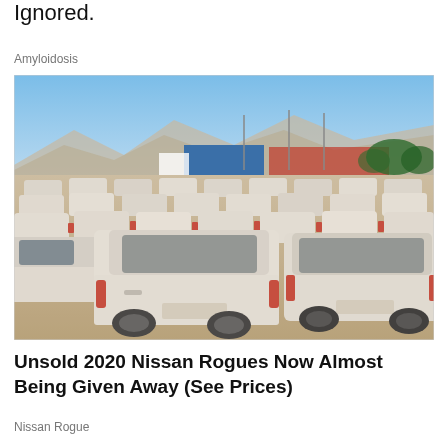Ignored.
Amyloidosis
[Figure (photo): Large outdoor lot filled with rows of white/dusty Nissan passenger cars and SUVs, viewed from an angle showing their rear ends, with industrial buildings and mountains in the background under a clear blue sky.]
Unsold 2020 Nissan Rogues Now Almost Being Given Away (See Prices)
Nissan Rogue